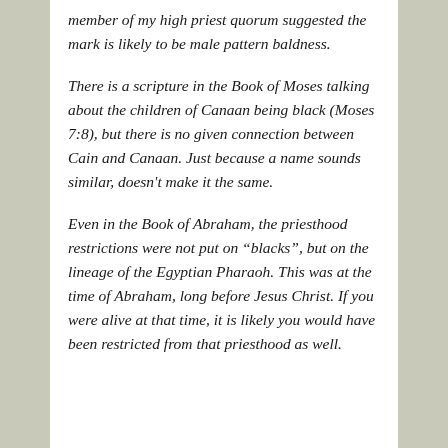member of my high priest quorum suggested the mark is likely to be male pattern baldness.
There is a scripture in the Book of Moses talking about the children of Canaan being black (Moses 7:8), but there is no given connection between Cain and Canaan. Just because a name sounds similar, doesn't make it the same.
Even in the Book of Abraham, the priesthood restrictions were not put on “blacks”, but on the lineage of the Egyptian Pharaoh. This was at the time of Abraham, long before Jesus Christ. If you were alive at that time, it is likely you would have been restricted from that priesthood as well.